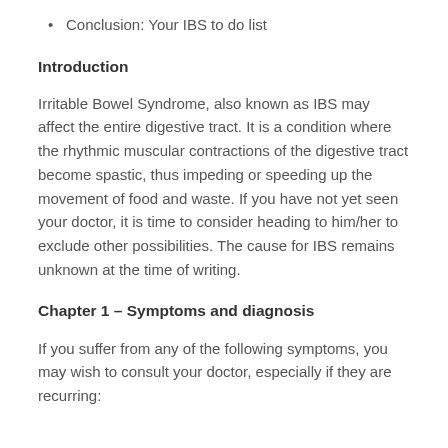Conclusion: Your IBS to do list
Introduction
Irritable Bowel Syndrome, also known as IBS may affect the entire digestive tract. It is a condition where the rhythmic muscular contractions of the digestive tract become spastic, thus impeding or speeding up the movement of food and waste. If you have not yet seen your doctor, it is time to consider heading to him/her to exclude other possibilities. The cause for IBS remains unknown at the time of writing.
Chapter 1 – Symptoms and diagnosis
If you suffer from any of the following symptoms, you may wish to consult your doctor, especially if they are recurring: